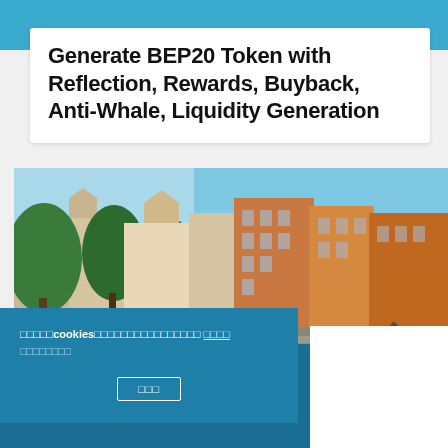Generate BEP20 Token with Reflection, Rewards, Buyback, Anti-Whale, Liquidity Generation
[Figure (photo): Street view of Amsterdam canal houses with trees in foreground, colorful brick buildings including tan, yellow and orange facades]
□□□□□cookies□□□□□□□□□□□□□□□□ □□□□ □□□□□□□□
□□□